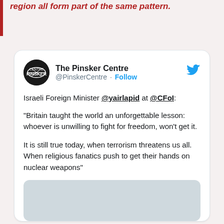region all form part of the same pattern.
[Figure (screenshot): Embedded tweet from @PinskerCentre quoting Israeli Foreign Minister @yairlapid at @CFoI about Britain's lesson on freedom and threats from terrorism and religious fanatics seeking nuclear weapons.]